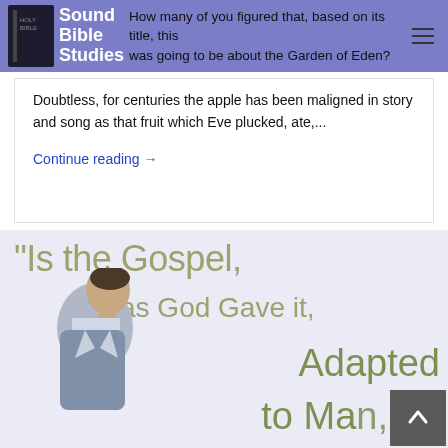Sound Bible Studies
How many of you figured that, based on its title, this was going to be about the Garden of Eden?
Doubtless, for centuries the apple has been maligned in story and song as that fruit which Eve plucked, ate,...
Continue reading →
[Figure (illustration): Promotional image with text: "Is the Gospel, as God Gave it, Adapted to Man," with a man bowing his head in the lower left, and a scroll-to-top button in the lower right corner.]